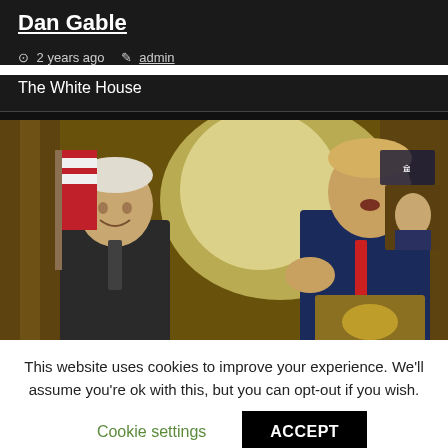Dan Gable
2 years ago  admin
The White House
[Figure (photo): Two men at a White House ceremony — one older man in a suit smiling, and another man at a podium with a microphone speaking and gesturing, wearing a blue suit and red tie. Gold curtains and an American flag in the background.]
This website uses cookies to improve your experience. We'll assume you're ok with this, but you can opt-out if you wish.
Cookie settings  ACCEPT